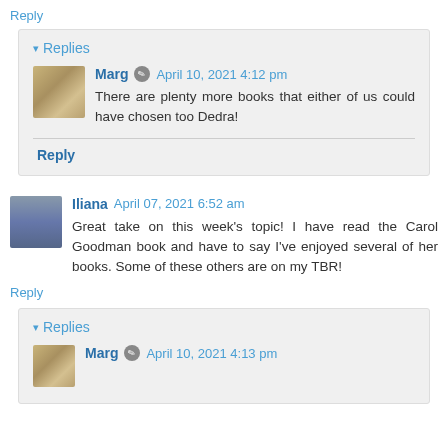Reply
▾ Replies
Marg  April 10, 2021 4:12 pm
There are plenty more books that either of us could have chosen too Dedra!
Reply
Iliana  April 07, 2021 6:52 am
Great take on this week's topic! I have read the Carol Goodman book and have to say I've enjoyed several of her books. Some of these others are on my TBR!
Reply
▾ Replies
Marg  April 10, 2021 4:13 pm